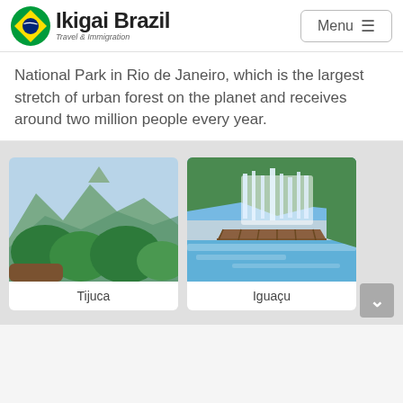Ikigai Brazil — Travel & Immigration | Menu
National Park in Rio de Janeiro, which is the largest stretch of urban forest on the planet and receives around two million people every year.
[Figure (photo): Aerial view of Tijuca forest with mountain peaks in the background, lush green tropical trees in foreground]
Tijuca
[Figure (photo): Iguaçu Falls with a wooden walkway/bridge over rushing water, surrounded by green forest and blue sky]
Iguaçu